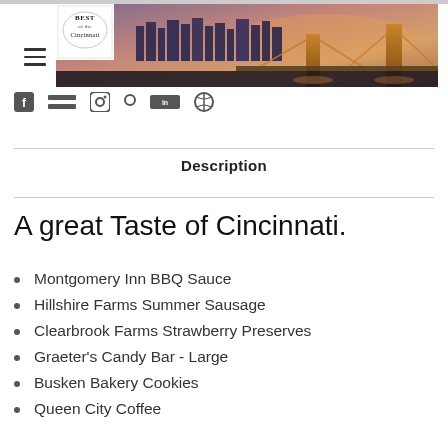[Figure (photo): Banner image showing Cincinnati skyline at dusk/sunset with bridge in foreground and city buildings in background; includes 'Best of Cincinnati' logo in top-left corner of banner]
[Figure (infographic): Row of social media icons (Facebook, Twitter/X, Instagram, Pinterest, LinkedIn, Pinterest/other)]
Description
A great Taste of Cincinnati.
Montgomery Inn BBQ Sauce
Hillshire Farms Summer Sausage
Clearbrook Farms Strawberry Preserves
Graeter's Candy Bar - Large
Busken Bakery Cookies
Queen City Coffee